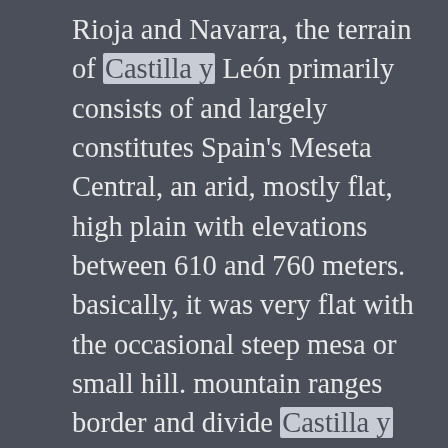Rioja and Navarra, the terrain of Castilla y León primarily consists of and largely constitutes Spain's Meseta Central, an arid, mostly flat, high plain with elevations between 610 and 760 meters. basically, it was very flat with the occasional steep mesa or small hill. mountain ranges border and divide Castilla y León into smaller regions; thankfully, for the most part we got to enjoy the mountain views from afar rather than while climbing over ranges. because its buffered on all sides by mountain ranges, the region remains quite arid though, because of its size, temperatures and precipitation vary dramatically. in the central areas, fewer than 18 inches of rain might fall a year while to the west upwards of 59 inches